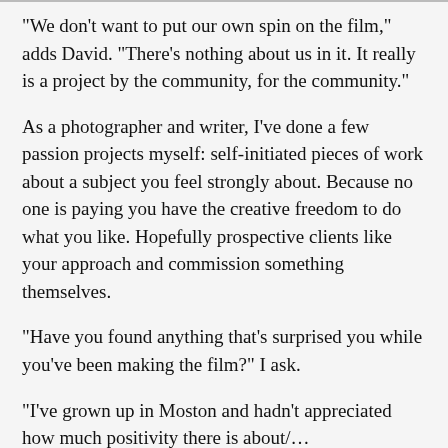“We don’t want to put our own spin on the film,” adds David. “There’s nothing about us in it. It really is a project by the community, for the community.”
As a photographer and writer, I’ve done a few passion projects myself: self-initiated pieces of work about a subject you feel strongly about. Because no one is paying you have the creative freedom to do what you like. Hopefully prospective clients like your approach and commission something themselves.
“Have you found anything that’s surprised you while you’ve been making the film?” I ask.
“I’ve grown up in Moston and hadn’t appreciated how much positivity there is about/…